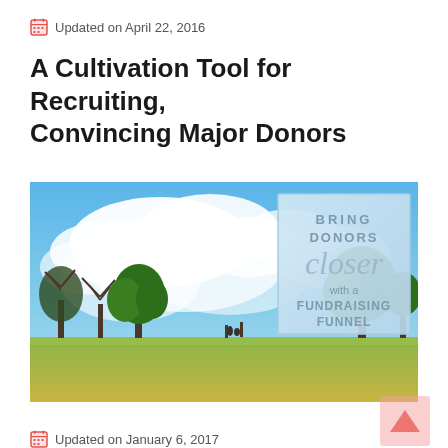Updated on April 22, 2016
A Cultivation Tool for Recruiting, Convincing Major Donors
[Figure (photo): Landscape photo of a green field with trees against a blue sky with clouds. Overlay box in upper right reads: BRING DONORS closer with a FUNDRAISING FUNNEL]
Updated on January 6, 2017